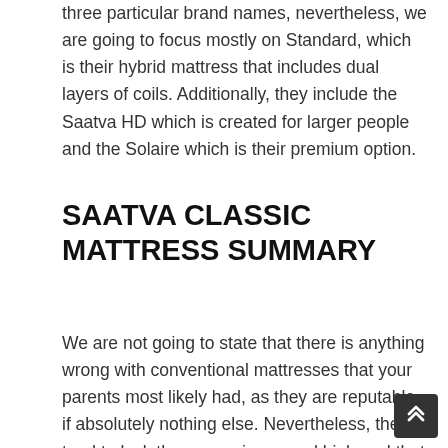three particular brand names, nevertheless, we are going to focus mostly on Standard, which is their hybrid mattress that includes dual layers of coils. Additionally, they include the Saatva HD which is created for larger people and the Solaire which is their premium option.
SAATVA CLASSIC MATTRESS SUMMARY
We are not going to state that there is anything wrong with conventional mattresses that your parents most likely had, as they are reputable if absolutely nothing else. Nevertheless, they tend to lack the convenience and high-end that is available today. The Saatva mattress brand takes the very best of both worlds and integrates it into the ultimate mattress. It includes that same trusted coil spring system and adds pocketed coils too s a